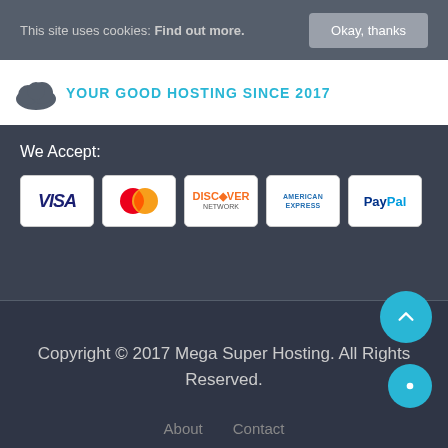This site uses cookies. Find out more.
Okay, thanks
YOUR GOOD HOSTING SINCE 2017
We Accept:
[Figure (infographic): Payment method logos: VISA, MasterCard, Discover Network, American Express, PayPal]
Copyright © 2017 Mega Super Hosting. All Rights Reserved.
About   Contact